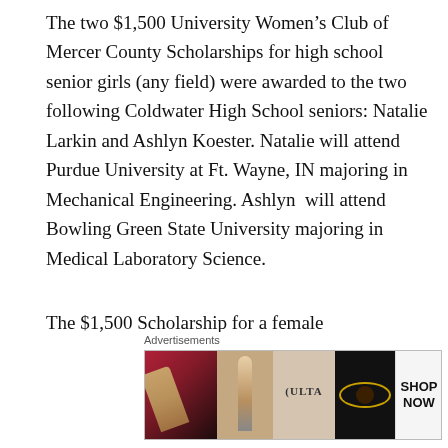The two $1,500 University Women’s Club of Mercer County Scholarships for high school senior girls (any field) were awarded to the two following Coldwater High School seniors: Natalie Larkin and Ashlyn Koester. Natalie will attend Purdue University at Ft. Wayne, IN majoring in Mechanical Engineering. Ashlyn will attend Bowling Green State University majoring in Medical Laboratory Science.
The $1,500 Scholarship for a female COLLEGE Junior going into her Senior year, which requires a GPA above 3.0, an essay, and a college professor’s recommendation. for 2022. goes to: Kenzie Conn. from
[Figure (other): Advertisement banner with Ulta Beauty cosmetics imagery showing makeup products and a SHOP NOW call-to-action button]